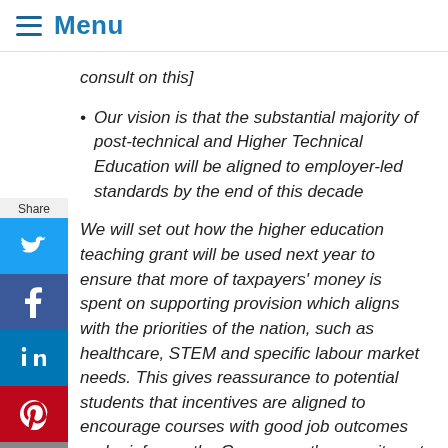Menu
consult on this]
Our vision is that the substantial majority of post-technical and Higher Technical Education will be aligned to employer-led standards by the end of this decade
We will set out how the higher education teaching grant will be used next year to ensure that more of taxpayers' money is spent on supporting provision which aligns with the priorities of the nation, such as healthcare, STEM and specific labour market needs. This gives reassurance to potential students that incentives are aligned to encourage courses with good job outcomes and reinforces the Government's commitment to